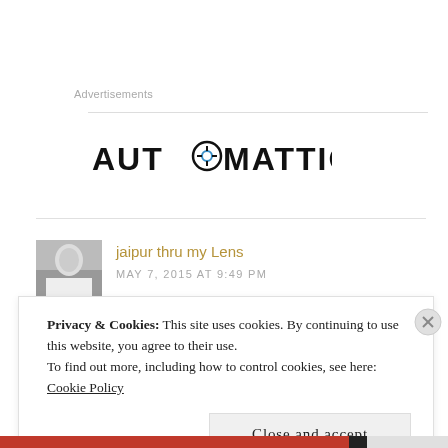Advertisements
[Figure (logo): Automattic logo — bold black letters AUTOMATTIC with a circular compass/target icon replacing the letter O]
jaipur thru my Lens
MAY 7, 2015 AT 9:49 PM
Privacy & Cookies: This site uses cookies. By continuing to use this website, you agree to their use.
To find out more, including how to control cookies, see here:
Cookie Policy
Close and accept